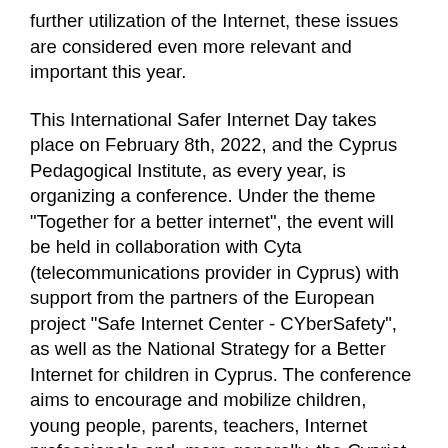further utilization of the Internet, these issues are considered even more relevant and important this year.
This International Safer Internet Day takes place on February 8th, 2022, and the Cyprus Pedagogical Institute, as every year, is organizing a conference. Under the theme "Together for a better internet", the event will be held in collaboration with Cyta (telecommunications provider in Cyprus) with support from the partners of the European project "Safe Internet Center - CYberSafety", as well as the National Strategy for a Better Internet for children in Cyprus. The conference aims to encourage and mobilize children, young people, parents, teachers, Internet professionals and, more generally, the Cypriot society as a whole, for a responsible, critical and respectful use of the Internet. More specifically, the conference intends to actively contribute to the effective and appropriate use by the digital society and to the shaping of the Internet into a better and safer place of communication, entertainment and learning